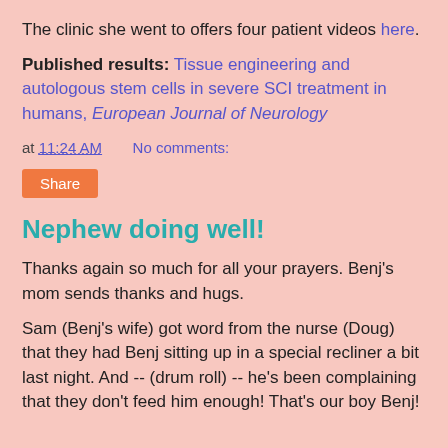The clinic she went to offers four patient videos here.
Published results: Tissue engineering and autologous stem cells in severe SCI treatment in humans, European Journal of Neurology
at 11:24 AM   No comments:
Share
Nephew doing well!
Thanks again so much for all your prayers. Benj's mom sends thanks and hugs.
Sam (Benj's wife) got word from the nurse (Doug) that they had Benj sitting up in a special recliner a bit last night. And -- (drum roll) -- he's been complaining that they don't feed him enough! That's our boy Benj!